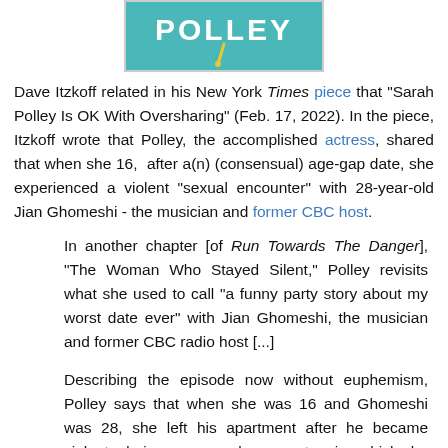[Figure (illustration): Book cover image showing 'POLLEY' text in white on teal background with a yellow needle/pin graphic element]
Dave Itzkoff related in his New York Times piece that "Sarah Polley Is OK With Oversharing" (Feb. 17, 2022). In the piece, Itzkoff wrote that Polley, the accomplished actress, shared that when she 16, after a(n) (consensual) age-gap date, she experienced a violent "sexual encounter" with 28-year-old Jian Ghomeshi - the musician and former CBC host.
In another chapter [of Run Towards The Danger], “The Woman Who Stayed Silent,” Polley revisits what she used to call “a funny party story about my worst date ever” with Jian Ghomeshi, the musician and former CBC radio host [...]
Describing the episode now without euphemism, Polley says that when she was 16 and Ghomeshi was 28, she left his apartment after he became violent during a sexual encounter in which he ignored her pleas to stop hurting her.